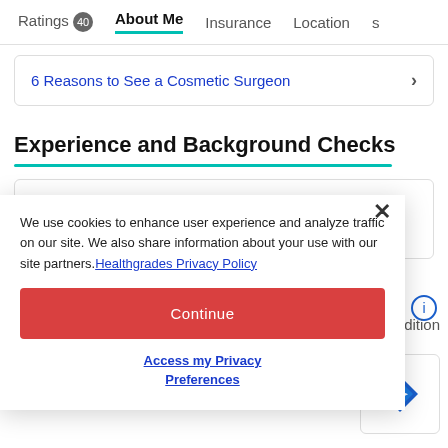Ratings 40   About Me   Insurance   Locations
6 Reasons to See a Cosmetic Surgeon
Experience and Background Checks
[Figure (illustration): Experience icon with bar chart and person silhouette, labeled Experience]
[Figure (illustration): Background check icon with person silhouette in circle, labeled Background]
We use cookies to enhance user experience and analyze traffic on our site. We also share information about your use with our site partners. Healthgrades Privacy Policy
Continue
Access my Privacy Preferences